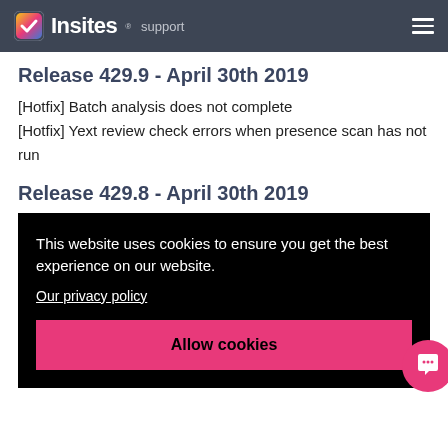Insites support
Release 429.9 - April 30th 2019
[Hotfix] Batch analysis does not complete
[Hotfix] Yext review check errors when presence scan has not run
Release 429.8 - April 30th 2019
[Figure (screenshot): Cookie consent overlay on black background with text 'This website uses cookies to ensure you get the best experience on our website.', a link 'Our privacy policy', and a pink 'Allow cookies' button. A pink chat bubble icon appears bottom right.]